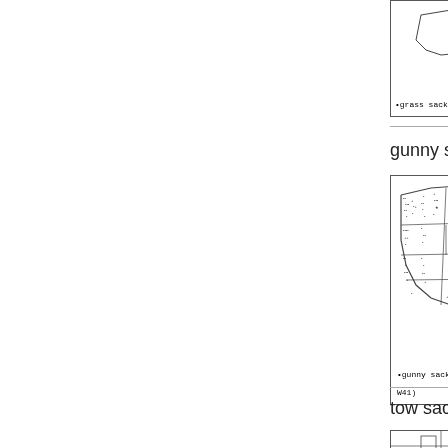[Figure (map): Partial map of US states with dots/crosses showing dialect survey responses for 'grass sack']
•grass sack •
gunny sack
[Figure (map): Map of US states with dots and crosses showing dialect survey responses for 'gunny sack' (W41)]
•gunny sack W41)
tow sack
[Figure (map): Partial map of US states with symbols showing dialect survey responses for 'tow sack']